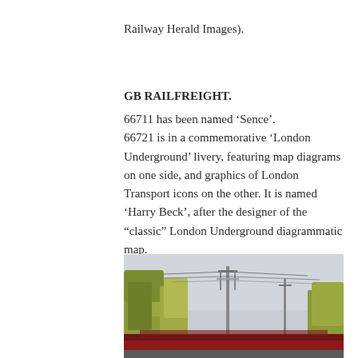Railway Herald Images).
GB RAILFREIGHT.
66711 has been named ‘Sence’. 66721 is in a commemorative ‘London Underground’ livery, featuring map diagrams on one side, and graphics of London Transport icons on the other. It is named ‘Harry Beck’, after the designer of the “classic” London Underground diagrammatic map.
[Figure (photo): Photograph of a freight train below, partially visible, with trees and overhead line equipment and a grey sky in the background.]